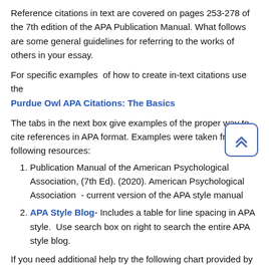Reference citations in text are covered on pages 253-278 of the 7th edition of the APA Publication Manual. What follows are some general guidelines for referring to the works of others in your essay.
For specific examples of how to create in-text citations use the Purdue Owl APA Citations: The Basics
The tabs in the next box give examples of the proper way to cite references in APA format. Examples were taken from the following resources:
Publication Manual of the American Psychological Association, (7th Ed). (2020). American Psychological Association - current version of the APA style manual
APA Style Blog- Includes a table for line spacing in APA style. Use search box on right to search the entire APA style blog.
If you need additional help try the following chart provided by APA: How to Write an APA Style Reference When